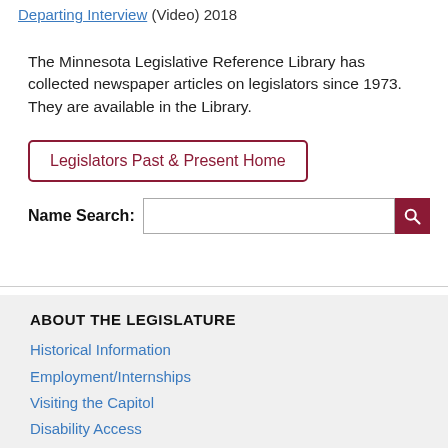Departing Interview (Video) 2018
The Minnesota Legislative Reference Library has collected newspaper articles on legislators since 1973. They are available in the Library.
Legislators Past & Present Home
Name Search:
ABOUT THE LEGISLATURE
Historical Information
Employment/Internships
Visiting the Capitol
Disability Access
Frequently Asked Questions
CONTACT YOUR LEGISLATOR